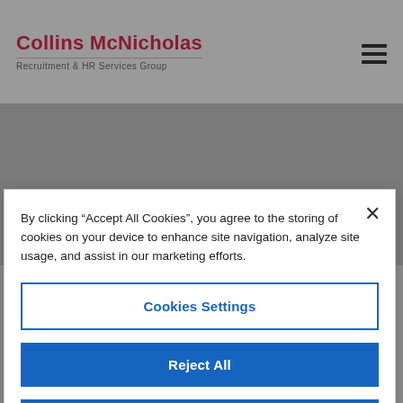Collins McNicholas Recruitment & HR Services Group
I'm looking
By clicking “Accept All Cookies”, you agree to the storing of cookies on your device to enhance site navigation, analyze site usage, and assist in our marketing efforts.
Cookies Settings
Reject All
Accept All Cookies